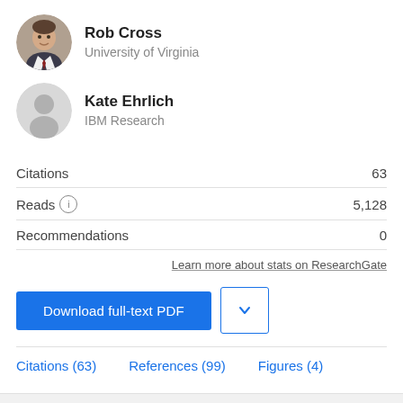[Figure (photo): Circular portrait photo of Rob Cross, a man in a suit]
Rob Cross
University of Virginia
[Figure (illustration): Default grey circular avatar placeholder icon for Kate Ehrlich]
Kate Ehrlich
IBM Research
Citations  63
Reads ⓘ  5,128
Recommendations  0
Learn more about stats on ResearchGate
Download full-text PDF
Citations (63)   References (99)   Figures (4)